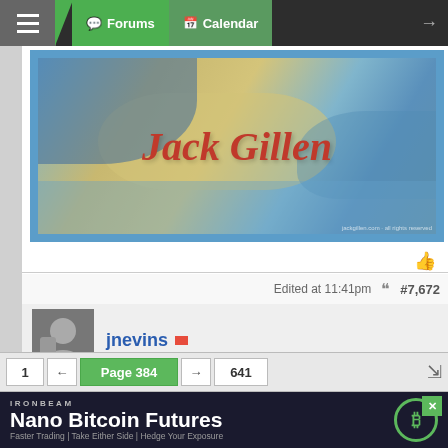Forums | Calendar
[Figure (illustration): Jack Gillen banner image with artistic background and red italic text reading 'Jack Gillen']
Edited at 11:41pm  #7,672
jnevins
End of the week as traded... please refer to post 7662 and the TS view... I usually feel it is best to exit the market Friday morning in the NY session. 3rd screen shot are my settings in the Astronomy module.
Attached Images (click to enlarge)
[Figure (screenshot): Dark chart/graph screenshot thumbnail showing colored curve lines on black background]
1  ← Page 384 → 641
IRONBEAM Nano Bitcoin Futures Faster Trading | Take Either Side | Hedge Your Exposure